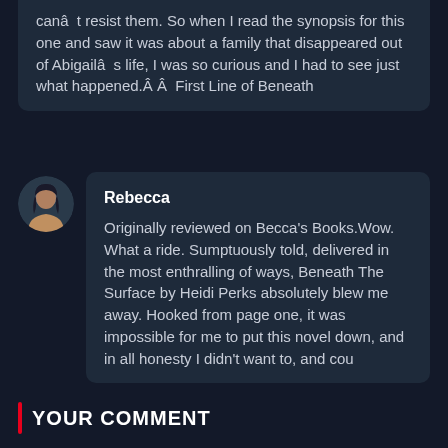canât resist them. So when I read the synopsis for this one and saw it was about a family that disappeared out of Abigailâ s life, I was so curious and I had to see just what happened.Â Â  First Line of Beneath
Rebecca
Originally reviewed on Becca's Books.Wow. What a ride. Sumptuously told, delivered in the most enthralling of ways, Beneath The Surface by Heidi Perks absolutely blew me away. Hooked from page one, it was impossible for me to put this novel down, and in all honesty I didn't want to, and cou
YOUR COMMENT